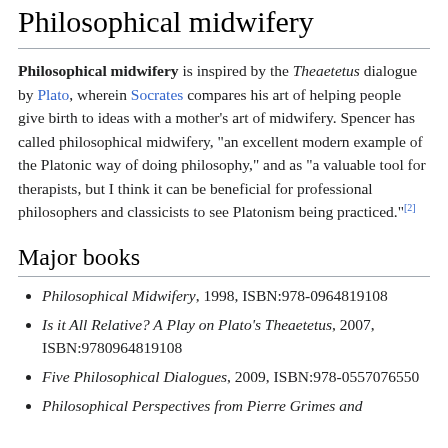Philosophical midwifery
Philosophical midwifery is inspired by the Theaetetus dialogue by Plato, wherein Socrates compares his art of helping people give birth to ideas with a mother’s art of midwifery. Spencer has called philosophical midwifery, "an excellent modern example of the Platonic way of doing philosophy," and as "a valuable tool for therapists, but I think it can be beneficial for professional philosophers and classicists to see Platonism being practiced."[2]
Major books
Philosophical Midwifery, 1998, ISBN:978-0964819108
Is it All Relative? A Play on Plato’s Theaetetus, 2007, ISBN:9780964819108
Five Philosophical Dialogues, 2009, ISBN:978-0557076550
Philosophical Perspectives from Pierre Grimes and